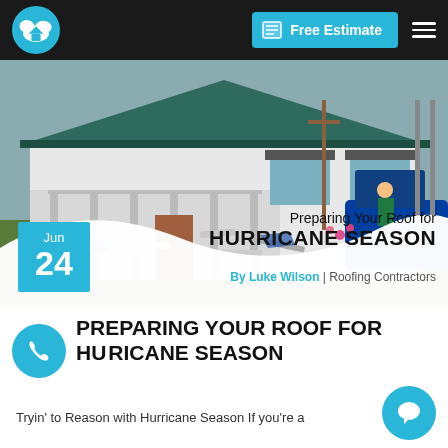Free Estimate
[Figure (photo): A single-story white house with a dark green metal roof, front porch with white railings, and a blue truck parked to the right. Roofing materials and workers are visible in the yard.]
Preparing Your Roof for HURRICANE SEASON
By Luke Wilson | Roofing Contractors
PREPARING YOUR ROOF FOR HURRICANE SEASON
Tryin' to Reason with Hurricane Season If you're a